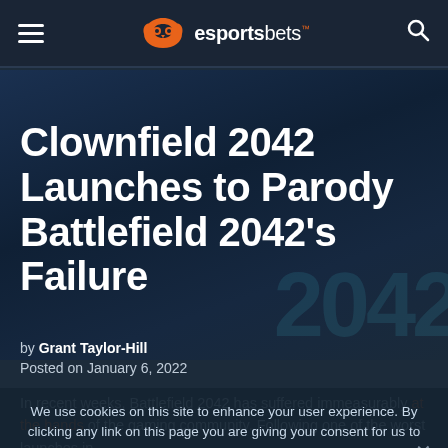esportsbets
Clownfield 2042 Launches to Parody Battlefield 2042’s Failure
by Grant Taylor-Hill
Posted on January 6, 2022
We use cookies on this site to enhance your user experience. By clicking any link on this page you are giving your consent for us to set cookies.
In recent weeks, Battlefield 2042 has suffered immeasurably at the hands of the gaming community. Following one of the worst launches in